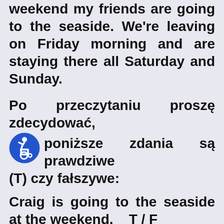weekend my friends are going to the seaside. We're leaving on Friday morning and are staying there all Saturday and Sunday.
Po przeczytaniu proszę zdecydować, (I) poniższe zdania są prawdziwe (T) czy fałszywe:
Craig is going to the seaside at the weekend.    T / F
Lucy always finishes work at 5 p.m.                T / F
She prepares reports for each...